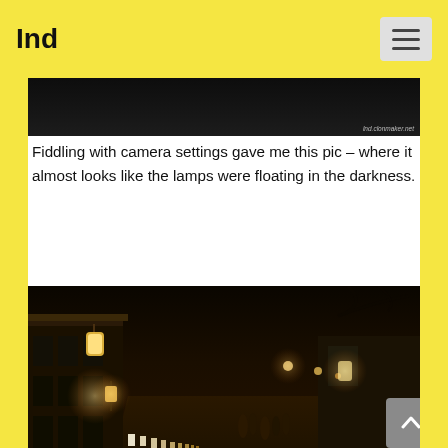Ind
[Figure (photo): Top portion of a dark night photograph showing faint lights, partially cropped. Watermark reads 'lnd.clonmaker.net']
Fiddling with camera settings gave me this pic – where it almost looks like the lamps were floating in the darkness.
[Figure (photo): Night street scene in Japan showing a traditional street lined with glowing lanterns along both sides, with people walking in the distance and traditional wooden buildings on the left. Warm orange/amber light. Watermark reads 'lnd.clonmaker.net']
I had to keep pushing up the ISO because otherwise I was just getting blurs or spots of light. A tripod and remote trigger would've been mighty useful...